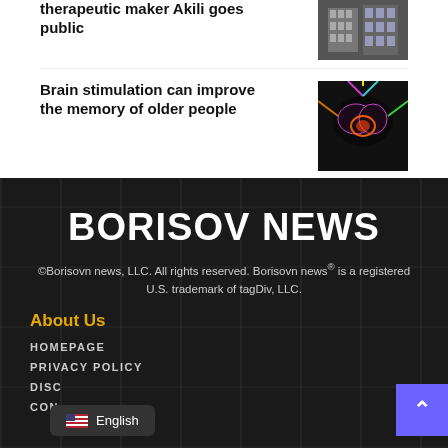therapeutic maker Akili goes public
[Figure (photo): Building interior photo]
Brain stimulation can improve the memory of older people
[Figure (photo): Brain stimulation colorful illustration]
BORISOV NEWS
©Borisovn news, LLC. All rights reserved. Borisovn news® is a registered U.S. trademark of tagDiv, LLC.
About Us
HOMEPAGE
PRIVACY POLICY
DISC
CON
English